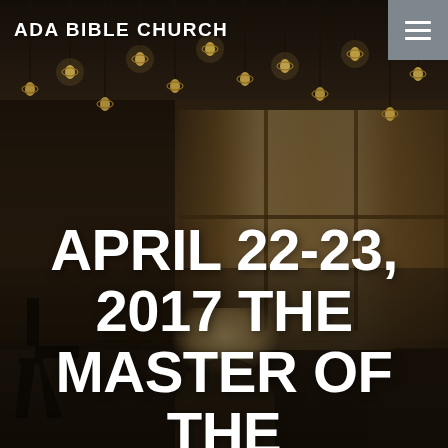[Figure (photo): Interior of Ada Bible Church with pendant lights hanging from a wooden ceiling, wooden panel partitions on the right wall, and people visible at the bottom of the frame. The image is darkened/overlaid with large white bold text.]
ADA BIBLE CHURCH
APRIL 22-23, 2017 THE MASTER OF THE FEAST